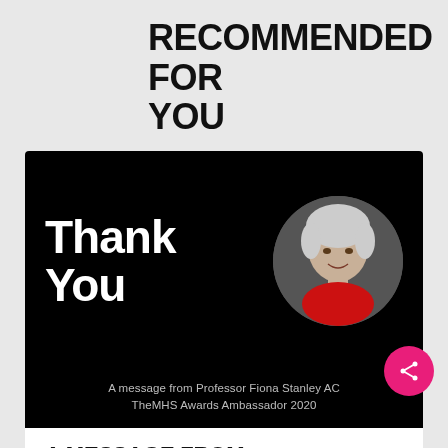RECOMMENDED FOR YOU
[Figure (photo): Black banner with 'Thank You' text in large white font on the left, and a circular portrait photo of an elderly woman with white/grey hair, wearing a red top, on the right. Below: 'A message from Professor Fiona Stanley AC TheMHS Awards Ambassador 2020']
A MESSAGE FROM PROFESSOR FIONA STANLEY AC
THEMHS TEAM